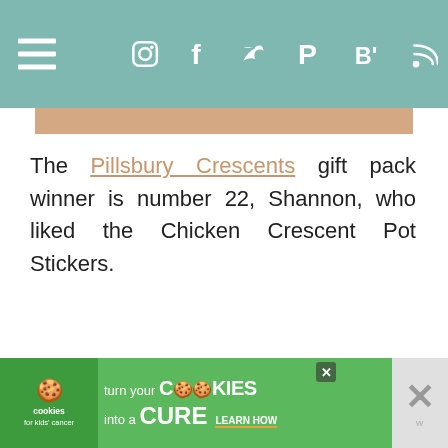Navigation bar with hamburger menu, Instagram, Facebook, Twitter, Pinterest, Bloglovin, RSS icons
[Figure (photo): Partial image visible at top of content area showing food item (Chicken Crescent Pot Stickers)]
The Pillsbury Crescents gift pack winner is number 22, Shannon, who liked the Chicken Crescent Pot Stickers.
[Figure (infographic): Cookies for Kids Cancer ad banner: turn your COOKIES into a CURE LEARN HOW]